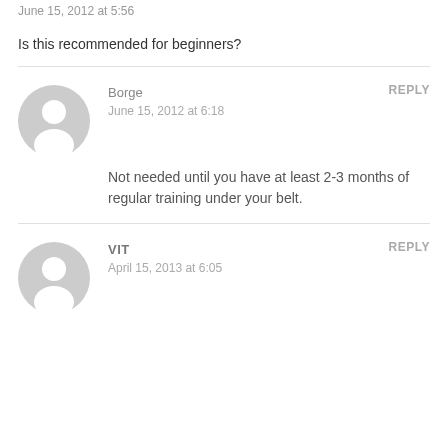June 15, 2012 at 5:56
Is this recommended for beginners?
Borge
June 15, 2012 at 6:18
REPLY
Not needed until you have at least 2-3 months of regular training under your belt.
VIT
April 15, 2013 at 6:05
REPLY